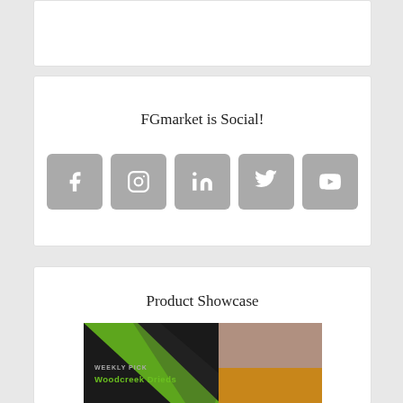[Figure (other): Top partial white card, partially visible at the top of the page]
FGmarket is Social!
[Figure (infographic): Row of five social media icon buttons (Facebook, Instagram, LinkedIn, Twitter, YouTube) in grey rounded squares]
Product Showcase
[Figure (photo): Partial product showcase image showing 'WEEKLY PICK - Woodcreek Drieds' text over a dark background with dried floral/botanical product imagery]